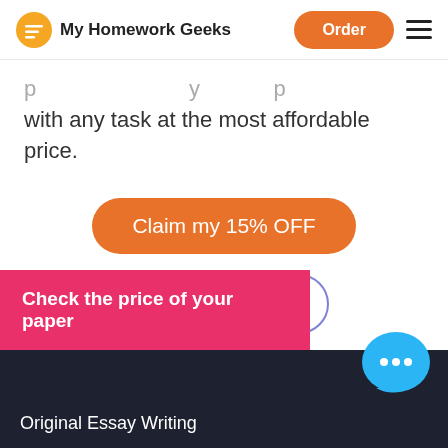My Homework Geeks | Order
with any task at the most affordable price.
Claim my 15% OFF
Order in Chat
Check the price of your paper
Original Essay Writing